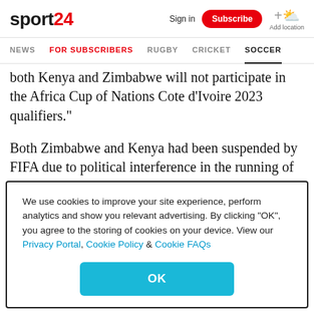sport24 | Sign in | Subscribe | Add location
NEWS | FOR SUBSCRIBERS | RUGBY | CRICKET | SOCCER
both Kenya and Zimbabwe will not participate in the Africa Cup of Nations Cote d'Ivoire 2023 qualifiers."
Both Zimbabwe and Kenya had been suspended by FIFA due to political interference in the running of their football, and that ban has been upheld by CAF.
We use cookies to improve your site experience, perform analytics and show you relevant advertising. By clicking "OK", you agree to the storing of cookies on your device. View our Privacy Portal, Cookie Policy & Cookie FAQs